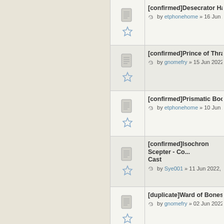[confirmed]Desecrator Hag effe... by etphonehome » 16 Jun 2022,
[confirmed]Prince of Thralls is a ... by gnomefry » 15 Jun 2022, 17:59
[confirmed]Prismatic Boon not w... by etphonehome » 10 Jun 2022,
[confirmed]Isochron Scepter - Co... Cast by Sye001 » 11 Jun 2022, 05:10
[duplicate]Ward of Bones not res... by gnomefry » 02 Jun 2022, 21:2
[confirmed]Kaya's Ghostform do... by gnomefry » 01 Jun 2022, 17:3
[confirmed]Jetting Glasskite abili... by etphonehome » 29 May 2022,
[confirmed]Oko, Thief of Crowns ... by Konatsu » 27 May 2022, 05:01
[confirmed]Liquimetal Coating de... by gnomefry » 16 May 2022, 21:2
[confirmed]Assembly-Worker to...